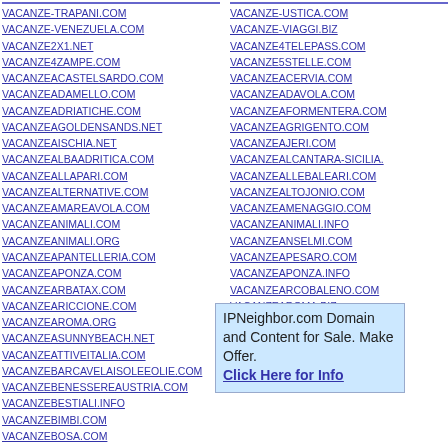VACANZE-TRAPANI.COM
VACANZE-VENEZUELA.COM
VACANZE2X1.NET
VACANZE4ZAMPE.COM
VACANZEACASTELSARDO.COM
VACANZEADAMELLO.COM
VACANZEADRIATICHE.COM
VACANZEAGOLDENSANDS.NET
VACANZEAISCHIA.NET
VACANZEALBAADRITICA.COM
VACANZEALLAPARI.COM
VACANZEALTERNATIVE.COM
VACANZEAMAREAVOLA.COM
VACANZEANIMALI.COM
VACANZEANIMALI.ORG
VACANZEAPANTELLERIA.COM
VACANZEAPONZA.COM
VACANZEARBATAX.COM
VACANZEARICCIONE.COM
VACANZEAROMA.ORG
VACANZEASUNNYBEACH.NET
VACANZEATTIVEITALIA.COM
VACANZEBARCAVELAISOLEEOLIE.COM
VACANZEBENESSEREAUSTRIA.COM
VACANZEBESTIALI.INFO
VACANZEBIMBI.COM
VACANZEBOSA.COM
VACANZEBRESCIANE.COM
VACANZE-USTICA.COM
VACANZE-VIAGGI.BIZ
VACANZE4TELEPASS.COM
VACANZE5STELLE.COM
VACANZEACERVIA.COM
VACANZEADAVOLA.COM
VACANZEAFORMENTERA.COM
VACANZEAGRIGENTO.COM
VACANZEAJERI.COM
VACANZEALCANTARA-SICILIA.
VACANZEALLEBALEARI.COM
VACANZEALTOJONIO.COM
VACANZEAMENAGGIO.COM
VACANZEANIMALI.INFO
VACANZEANSELMI.COM
VACANZEAPESARO.COM
VACANZEAPONZA.INFO
VACANZEARCOBALENO.COM
VACANZEAROMA.BIZ
VACANZEARTISTICHE.COM
VACANZEATORREPAL.COM
VACANZEAVELA.ORG
VACANZEBARDONECCHIA.COM
IPNeighbor.com Domain and Content for Sale. Make Offer. Click Here for Info